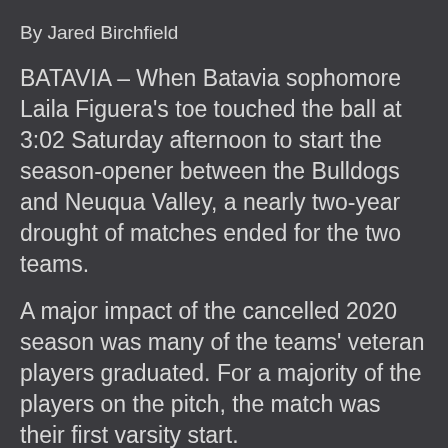By Jared Birchfield
BATAVIA – When Batavia sophomore Laila Figuera's toe touched the ball at 3:02 Saturday afternoon to start the season-opener between the Bulldogs and Neuqua Valley, a nearly two-year drought of matches ended for the two teams.
A major impact of the cancelled 2020 season was many of the teams' veteran players graduated. For a majority of the players on the pitch, the match was their first varsity start.
Neuqua Valley, ranked 11th in the State, beat Batavia. The…